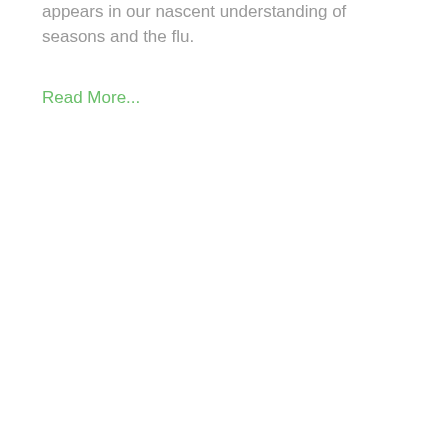appears in our nascent understanding of seasons and the flu.
Read More...